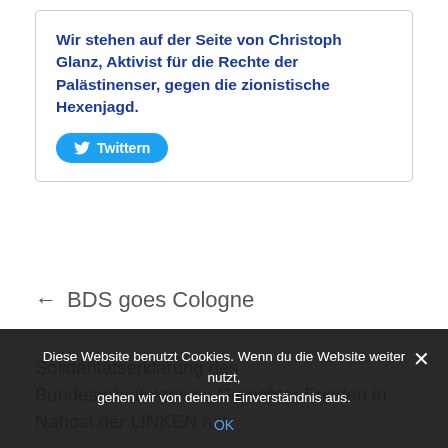Wir stehen auf der Seite von Christoph Glanz, Aktivist für die Rechte der Palästinenser, gegen die zionistische Hexenjagd.
[Figure (other): Twitter share button with bird icon and label 'Twittern']
← BDS goes Cologne
Solidaritätserklärung des Bundesarbeitskreises Gerechter Frieden in Nahost der LINKEN mit
Diese Website benutzt Cookies. Wenn du die Website weiter nutzt, gehen wir von deinem Einverständnis aus.
OK